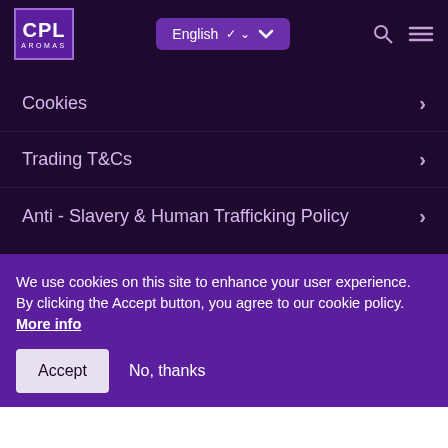CPL AROMAS — English
Cookies
Trading T&Cs
Anti - Slavery & Human Trafficking Policy
We use cookies on this site to enhance your user experience.
By clicking the Accept button, you agree to our cookie policy. More info
Accept   No, thanks